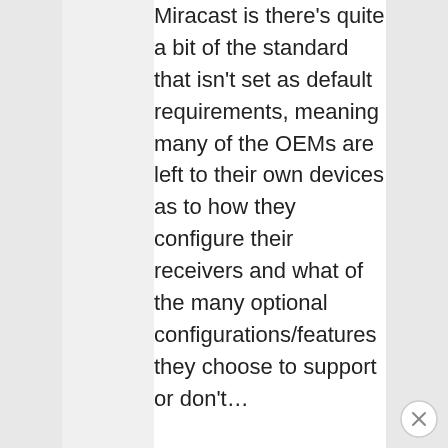Miracast is there's quite a bit of the standard that isn't set as default requirements, meaning many of the OEMs are left to their own devices as to how they configure their receivers and what of the many optional configurations/features they choose to support or don't…
So it can range from a low cost receiver that requires proprietary software